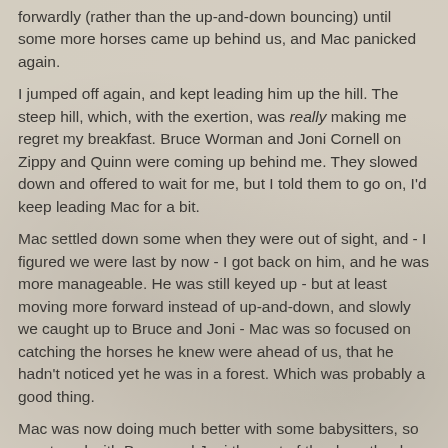forwardly (rather than the up-and-down bouncing) until some more horses came up behind us, and Mac panicked again.
I jumped off again, and kept leading him up the hill. The steep hill, which, with the exertion, was really making me regret my breakfast. Bruce Worman and Joni Cornell on Zippy and Quinn were coming up behind me. They slowed down and offered to wait for me, but I told them to go on, I'd keep leading Mac for a bit.
Mac settled down some when they were out of sight, and - I figured we were last by now - I got back on him, and he was more manageable. He was still keyed up - but at least moving more forward instead of up-and-down, and slowly we caught up to Bruce and Joni - Mac was so focused on catching the horses he knew were ahead of us, that he hadn't noticed yet he was in a forest. Which was probably a good thing.
Mac was now doing much better with some babysitters, so we stayed with Bruce and Joni the rest of the day - thanks guys! I did worry a bit that we were moving too fast for Mac